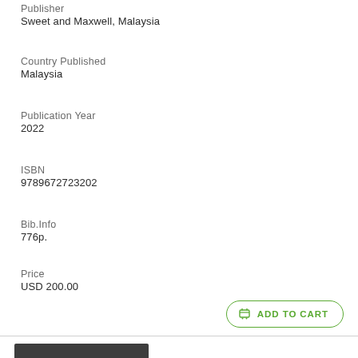Publisher
Sweet and Maxwell, Malaysia
Country Published
Malaysia
Publication Year
2022
ISBN
9789672723202
Bib.Info
776p.
Price
USD 200.00
[Figure (other): Add to Cart button with shopping cart icon in green outline style]
[Figure (illustration): Book cover placeholder image with dark grey background and light grey open book icon]